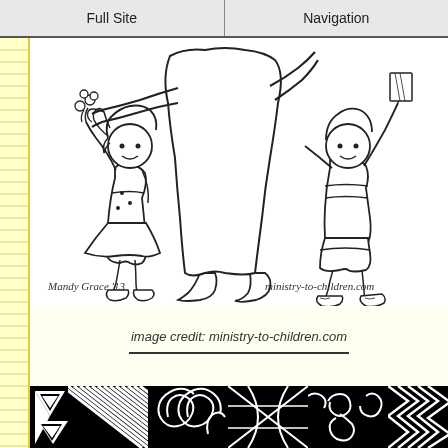Full Site | Navigation
[Figure (illustration): Black and white coloring page illustration showing two children giving flowers to an adult (teacher). A girl on the left holds a bouquet of flowers, and a boy on the right holds a pinwheel/paper. The adult is cropped at the torso. Signed 'Mandy Grace '13' and 'ministry-to-children.com']
image credit: ministry-to-children.com
[Figure (illustration): Partial view of a black and white decorative zentangle/doodle art pattern with geometric and swirling designs]